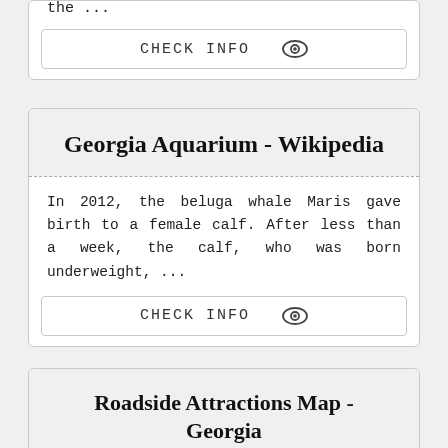the ...
CHECK INFO
Georgia Aquarium - Wikipedia
In 2012, the beluga whale Maris gave birth to a female calf. After less than a week, the calf, who was born underweight, ...
CHECK INFO
Roadside Attractions Map - Georgia